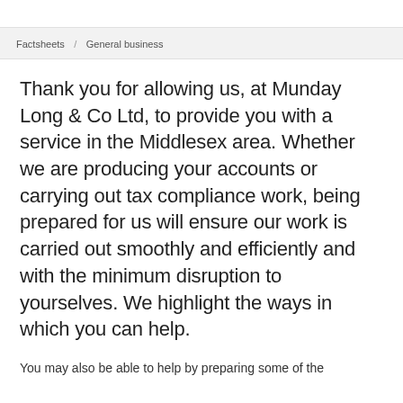Factsheets / General business
Thank you for allowing us, at Munday Long & Co Ltd, to provide you with a service in the Middlesex area. Whether we are producing your accounts or carrying out tax compliance work, being prepared for us will ensure our work is carried out smoothly and efficiently and with the minimum disruption to yourselves. We highlight the ways in which you can help.
You may also be able to help by preparing some of the